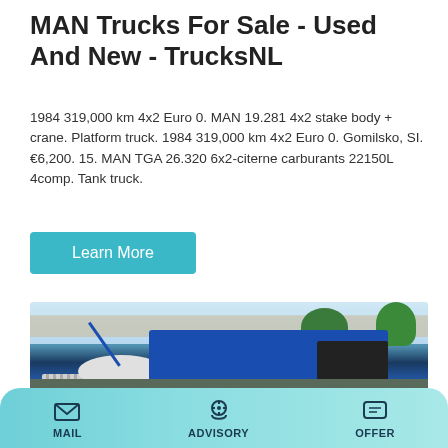MAN Trucks For Sale - Used And New - TrucksNL
1984 319,000 km 4x2 Euro 0. MAN 19.281 4x2 stake body + crane. Platform truck. 1984 319,000 km 4x2 Euro 0. Gomilsko, SI. €6,200. 15. MAN TGA 26.320 6x2-citerne carburants 22150L 4comp. Tank truck.
Learn More
[Figure (photo): Photo of a blue industrial truck or heavy machinery with a crane arm, cylindrical tank, and engine compartment, parked under a shed roof with trees in background]
MAIL   ADVISORY   OFFER